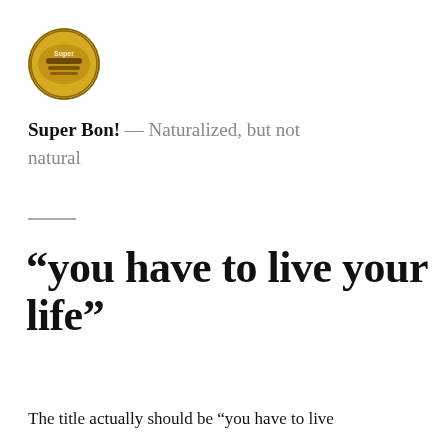[Figure (logo): Circular logo for Super Bon! blog — yellow/brown circular badge with food imagery]
Super Bon! — Naturalized, but not natural
“you have to live your life”
The title actually should be “you have to live